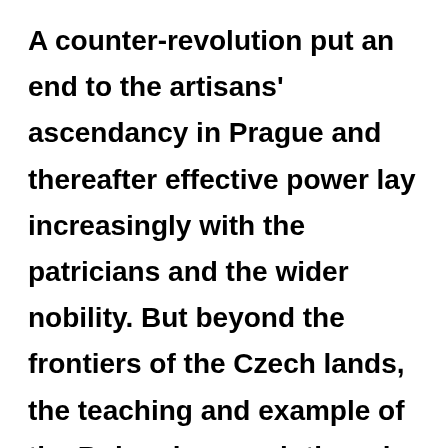A counter-revolution put an end to the artisans' ascendancy in Prague and thereafter effective power lay increasingly with the patricians and the wider nobility. But beyond the frontiers of the Czech lands, the teaching and example of the Bohemian revolutionaries continued to work upon the imaginations of the discontented poor, and everywhere the rich and privileged, clerics and